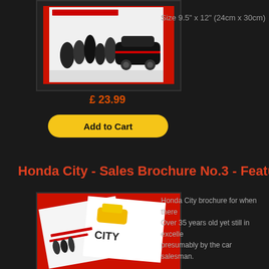[Figure (photo): Honda City sales brochure cover photo showing people in black clothing around a black Honda City car on a red and white background with Japanese text]
Size 9.5" x 12" (24cm x 30cm)
£ 23.99
Add to Cart
Honda City - Sales Brochure No.3 - Feature
[Figure (photo): Honda City sales brochure No.3 showing brochure covers with Japanese text, people posing, and a yellow Honda City car on red background]
Honda City brochure for when there
Over 35 years old yet still in excelle
presumably by the car salesman.